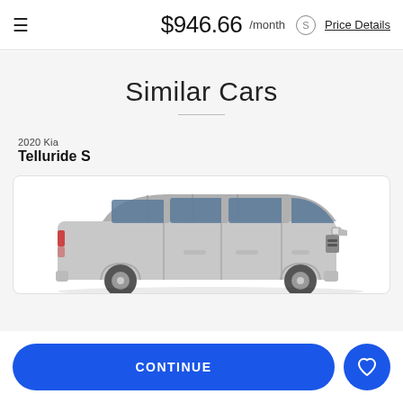$946.66 /month Price Details
Similar Cars
2020 Kia
Telluride S
[Figure (photo): Photo of a silver 2020 Kia Telluride S SUV viewed from the side, shown inside a white card.]
CONTINUE